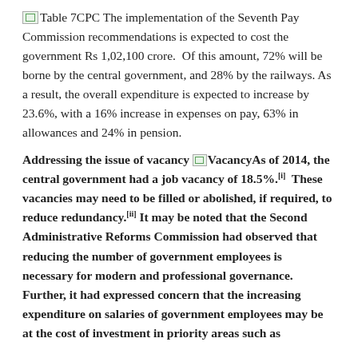Table 7CPC The implementation of the Seventh Pay Commission recommendations is expected to cost the government Rs 1,02,100 crore. Of this amount, 72% will be borne by the central government, and 28% by the railways. As a result, the overall expenditure is expected to increase by 23.6%, with a 16% increase in expenses on pay, 63% in allowances and 24% in pension.
Addressing the issue of vacancy
VacancyAs of 2014, the central government had a job vacancy of 18.5%.[i] These vacancies may need to be filled or abolished, if required, to reduce redundancy.[ii] It may be noted that the Second Administrative Reforms Commission had observed that reducing the number of government employees is necessary for modern and professional governance. Further, it had expressed concern that the increasing expenditure on salaries of government employees may be at the cost of investment in priority areas such as